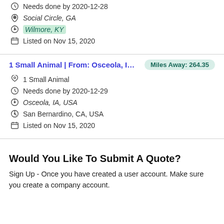Needs done by 2020-12-28
Social Circle, GA
Wilmore, KY
Listed on Nov 15, 2020
1 Small Animal | From: Osceola, IA,... Miles Away: 264.35
1 Small Animal
Needs done by 2020-12-29
Osceola, IA, USA
San Bernardino, CA, USA
Listed on Nov 15, 2020
Would You Like To Submit A Quote?
Sign Up - Once you have created a user account. Make sure you create a company account.